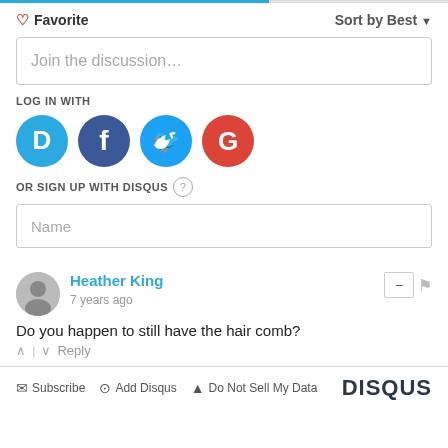♡ Favorite
Sort by Best ▼
Join the discussion…
LOG IN WITH
[Figure (logo): Four social login icons: Disqus (blue circle with D), Facebook (dark blue circle with f), Twitter (blue circle with bird), Google (red circle with G)]
OR SIGN UP WITH DISQUS ?
Name
Heather King
7 years ago
Do you happen to still have the hair comb?
^ | ∨  Reply
✉ Subscribe  ⊙ Add Disqus  ▲ Do Not Sell My Data  DISQUS